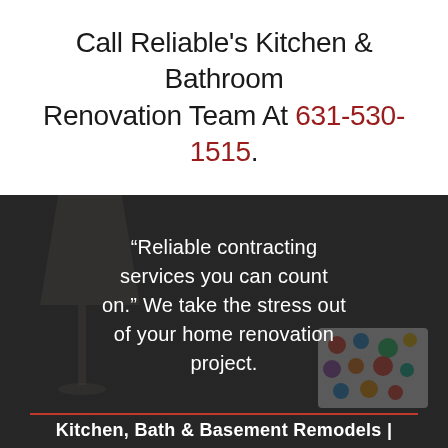Call Reliable's Kitchen & Bathroom Renovation Team At 631-530-1515.
[Figure (photo): Dark overlay background photo of a living room interior with a floor lamp and colorful polka-dot cushion, overlaid with a white quote text and a red horizontal divider line.]
“Reliable contracting services you can count on.” We take the stress out of your home renovation project.
Kitchen, Bath & Basement Remodels |